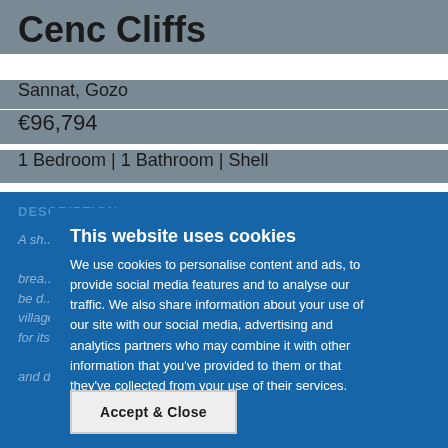Cenc Cliffs
Sannat, Gozo
€96,794
1 Bedroom | 1 Bathroom | Shell
DESCRIPTION
A sh... (description text partially visible behind cookie overlay)
This website uses cookies
We use cookies to personalise content and ads, to provide social media features and to analyse our traffic. We also share information about your use of our site with our social media, advertising and analytics partners who may combine it with other information that you've provided to them or that they've collected from your use of their services.
Accept & Close